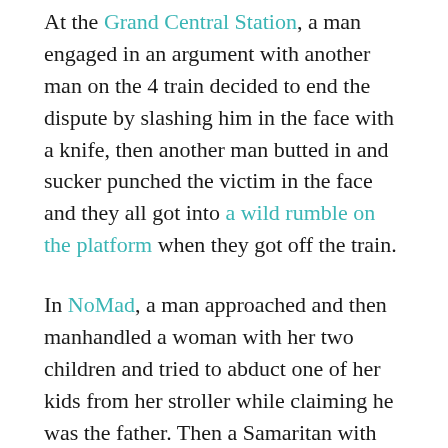At the Grand Central Station, a man engaged in an argument with another man on the 4 train decided to end the dispute by slashing him in the face with a knife, then another man butted in and sucker punched the victim in the face and they all got into a wild rumble on the platform when they got off the train.
In NoMad, a man approached and then manhandled a woman with her two children and tried to abduct one of her kids from her stroller while claiming he was the father. Then a Samaritan with superior fighting skills wrestled him to the ground and applied a martial arts hold and kept him restrained until the cops arrived.
In Hudson Yards, two men got injured while washing windows on a 100-story tower when their scaffold